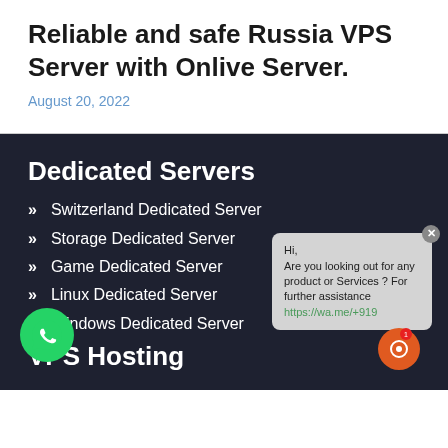Reliable and safe Russia VPS Server with Onlive Server.
August 20, 2022
Dedicated Servers
Switzerland Dedicated Server
Storage Dedicated Server
Game Dedicated Server
Linux Dedicated Server
Windows Dedicated Server
[Figure (illustration): WhatsApp chat widget with message: Hi, Are you looking out for any product or Services ? For further assistance https://wa.me/+919]
VPS Hosting